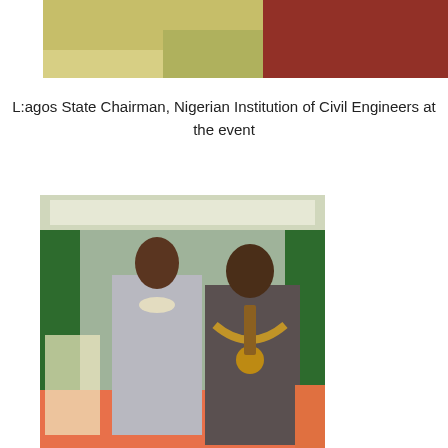[Figure (photo): Partial photo showing people at an event, cropped at top of page — blurred figures in traditional attire with green/yellow and red clothing]
L:agos State Chairman, Nigerian Institution of Civil Engineers at the event
[Figure (photo): Photo of two people standing together at an event — a woman in a grey blazer with pearl necklace and a man in a dark suit wearing a ceremonial chain/medallion. Green curtain background with a banner.]